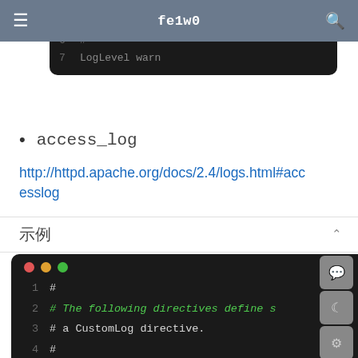fe1w0
[Figure (screenshot): Partial code block showing lines 6-7: line 6 has '#', line 7 has 'LogLevel warn' in a dark terminal window]
access_log
http://httpd.apache.org/docs/2.4/logs.html#accesslog
示例
[Figure (screenshot): Dark terminal/code editor showing lines 1-6 of Apache config comments about CustomLog directive and Common Log format]